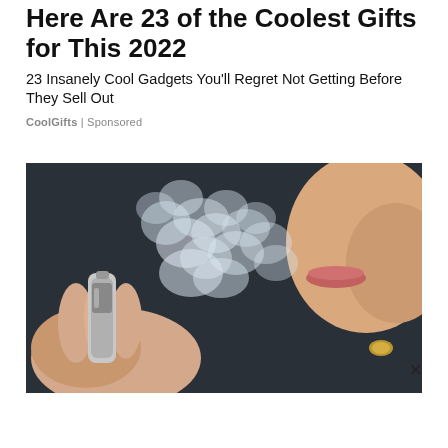Here Are 23 of the Coolest Gifts for This 2022
23 Insanely Cool Gadgets You'll Regret Not Getting Before They Sell Out
CoolGifts | Sponsored
[Figure (photo): Close-up photo of a person exhaling vapor/smoke from a vape device held in their hand]